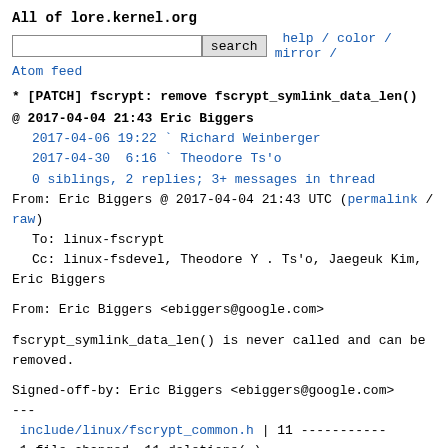All of lore.kernel.org
search  help / color / mirror / Atom feed
* [PATCH] fscrypt: remove fscrypt_symlink_data_len()
@ 2017-04-04 21:43 Eric Biggers
  2017-04-06 19:22 ` Richard Weinberger
  2017-04-30  6:16 ` Theodore Ts'o
  0 siblings, 2 replies; 3+ messages in thread
From: Eric Biggers @ 2017-04-04 21:43 UTC (permalink / raw)
   To: linux-fscrypt
   Cc: linux-fsdevel, Theodore Y . Ts'o, Jaegeuk Kim, Eric Biggers
From: Eric Biggers <ebiggers@google.com>
fscrypt_symlink_data_len() is never called and can be removed.
Signed-off-by: Eric Biggers <ebiggers@google.com>
---
 include/linux/fscrypt_common.h | 11 -----------
 1 file changed, 11 deletions(-)
diff --git a/include/linux/fscrypt_common.h b/include/linux/fscrypt_common.h
index 10c1abfbac6c..0a30c106c1e5 100644
--- a/include/linux/fscrypt_common.h